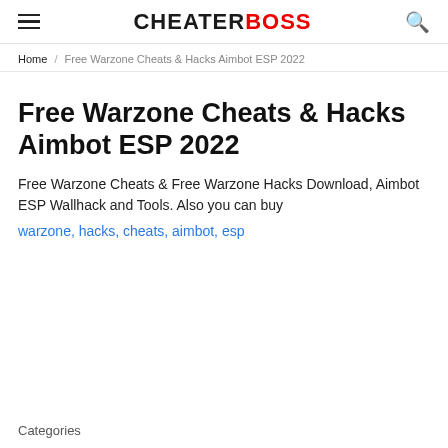CHEATERBOSS
Home / Free Warzone Cheats & Hacks Aimbot ESP 2022
Free Warzone Cheats & Hacks Aimbot ESP 2022
Free Warzone Cheats & Free Warzone Hacks Download, Aimbot ESP Wallhack and Tools. Also you can buy warzone, hacks, cheats, aimbot, esp
Categories